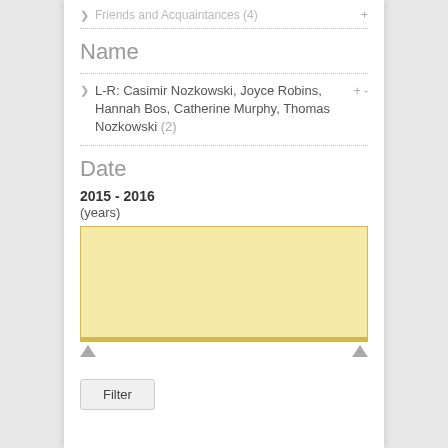Friends and Acquaintances (4)
Name
L-R: Casimir Nozkowski, Joyce Robins, Hannah Bos, Catherine Murphy, Thomas Nozkowski (2)
Date
2015 - 2016
(years)
[Figure (other): A yellow date range selector box with a slider track and two arrow handles at the bottom left and right.]
Filter